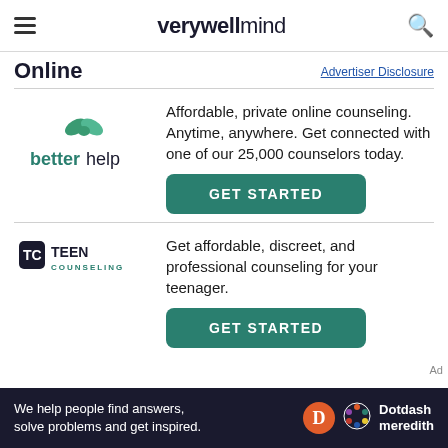verywell mind
Online
Advertiser Disclosure
[Figure (logo): BetterHelp logo with green leaves icon and text 'betterhelp']
Affordable, private online counseling. Anytime, anywhere. Get connected with one of our 25,000 counselors today.
GET STARTED
[Figure (logo): TeenCounseling logo with TC icon and text 'TEEN COUNSELING']
Get affordable, discreet, and professional counseling for your teenager.
GET STARTED
Ad
We help people find answers, solve problems and get inspired. Dotdash meredith